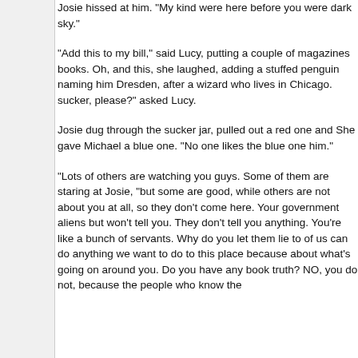Josie hissed at him.  "My kind were here before you were dark sky."
"Add this to my bill," said Lucy, putting a couple of magazines books. Oh, and this, she laughed, adding a stuffed penguin naming him Dresden, after a wizard who lives in Chicago. sucker, please?" asked Lucy.
Josie dug through the sucker jar, pulled out a red one and She gave Michael a blue one.  "No one likes the blue one him."
"Lots of others are watching you guys.  Some of them are staring at Josie, "but some are good, while others are not about you at all, so they don't come here.  Your government aliens but won't tell you.  They don't tell you anything.  You're like a bunch of servants. Why do you let them lie to of us can do anything we want to do to this place because about what's going on around you.  Do you have any book truth?  NO, you do not, because the people who know the